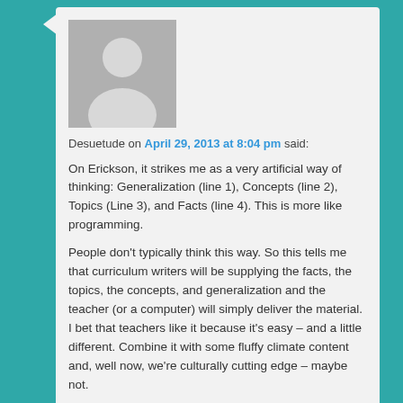[Figure (illustration): Default user avatar — grey silhouette of a person on a grey square background]
Desuetude on April 29, 2013 at 8:04 pm said:
On Erickson, it strikes me as a very artificial way of thinking: Generalization (line 1), Concepts (line 2), Topics (Line 3), and Facts (line 4). This is more like programming.
People don't typically think this way. So this tells me that curriculum writers will be supplying the facts, the topics, the concepts, and generalization and the teacher (or a computer) will simply deliver the material. I bet that teachers like it because it's easy – and a little different. Combine it with some fluffy climate content and, well now, we're culturally cutting edge – maybe not.
It sounds like no-content education, no logic either. Opinions with a touch of warm-and-fuzzy